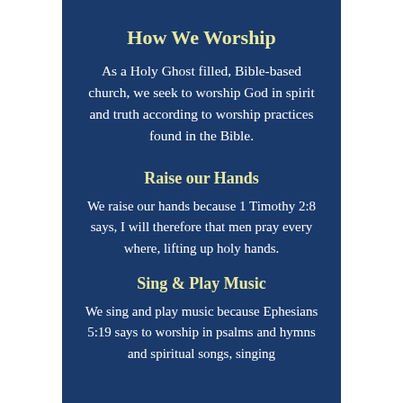How We Worship
As a Holy Ghost filled, Bible-based church, we seek to worship God in spirit and truth according to worship practices found in the Bible.
Raise our Hands
We raise our hands because 1 Timothy 2:8 says, I will therefore that men pray every where, lifting up holy hands.
Sing & Play Music
We sing and play music because Ephesians 5:19 says to worship in psalms and hymns and spiritual songs, singing